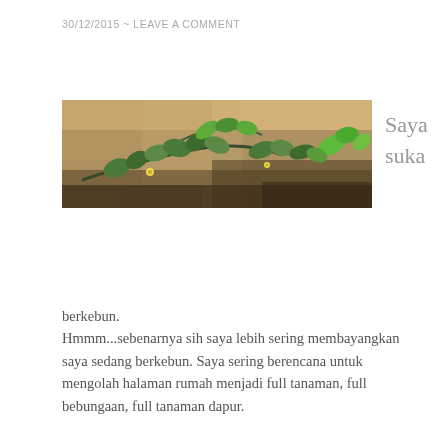30/12/2015 ~ LEAVE A COMMENT
[Figure (photo): A close-up photograph of green plants and leaves growing near a rocky surface with water or stone visible in the background, with a warm yellowish-brown tone.]
Saya suka
berkebun.
Hmmm...sebenarnya sih saya lebih sering membayangkan saya sedang berkebun. Saya sering berencana untuk mengolah halaman rumah menjadi full tanaman, full bebungaan, full tanaman dapur.